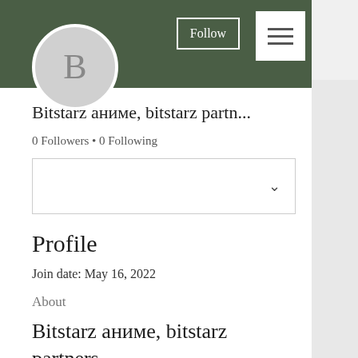[Figure (screenshot): User profile avatar: light gray circle with letter B in gray]
Bitstarz аниме, bitstarz partn...
0 Followers • 0 Following
Profile
Join date: May 16, 2022
About
Bitstarz аниме, bitstarz partners